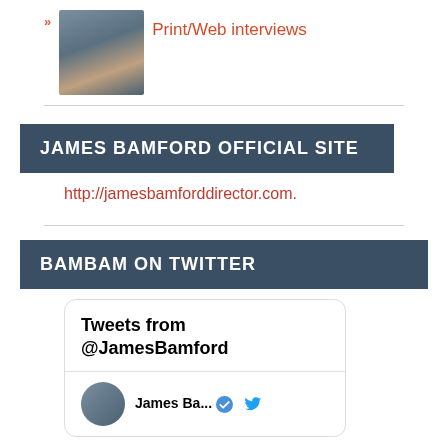» Print/Web interviews
JAMES BAMFORD OFFICIAL SITE
http://jamesbamforddirector.com.
BAMBAM ON TWITTER
Tweets from @JamesBamford
James Ba...